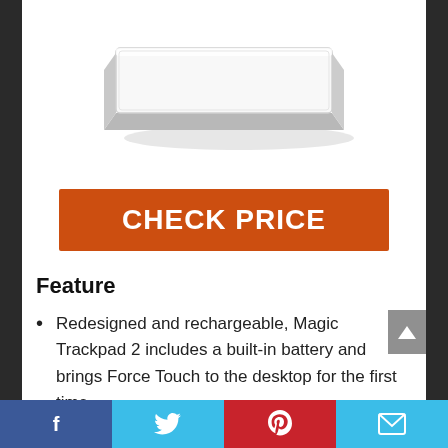[Figure (photo): Apple Magic Trackpad 2 product image — white rectangular trackpad with silver edge, viewed from slight angle above]
CHECK PRICE
Feature
Redesigned and rechargeable, Magic Trackpad 2 includes a built-in battery and brings Force Touch to the desktop for the first time.
Social share bar: Facebook, Twitter, Pinterest, Email